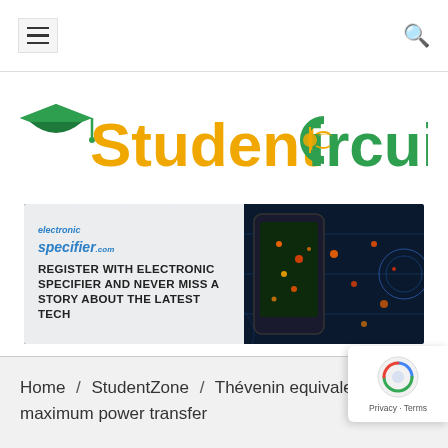Student Circuit — navigation bar with hamburger menu and search icon
[Figure (logo): Student Circuit logo with graduation cap icon and circuit motif on 'C', text in gold and green]
[Figure (infographic): Electronic Specifier advertisement banner: 'REGISTER WITH ELECTRONIC SPECIFIER AND NEVER MISS A STORY ABOUT THE LATEST TECH' with hand holding smartphone showing circuit/tech imagery]
Home / StudentZone / Thévenin equivalent circu… maximum power transfer